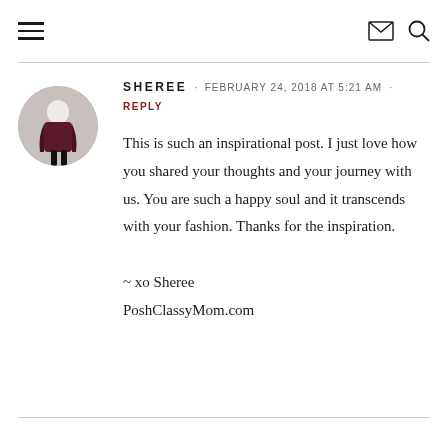≡  ✉ 🔍
[Figure (photo): Circular avatar photo of a woman in a dark maroon coat against a white background]
SHEREE · FEBRUARY 24, 2018 AT 5:21 AM · REPLY
This is such an inspirational post. I just love how you shared your thoughts and your journey with us. You are such a happy soul and it transcends with your fashion. Thanks for the inspiration.

~ xo Sheree
PoshClassyMom.com